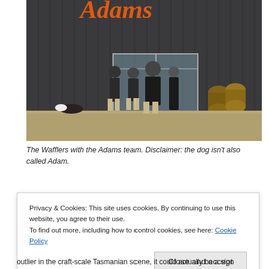[Figure (photo): Four people standing in front of a dark corrugated metal building with an orange cursive 'Adams' sign. Whisky barrels are visible to the right. A dog lies on the dry grassy ground to the left.]
The Wafflers with the Adams team. Disclaimer: the dog isn't also called Adam.
Privacy & Cookies: This site uses cookies. By continuing to use this website, you agree to their use.
To find out more, including how to control cookies, see here: Cookie Policy
outlier in the craft-scale Tasmanian scene, it could actually be a sign